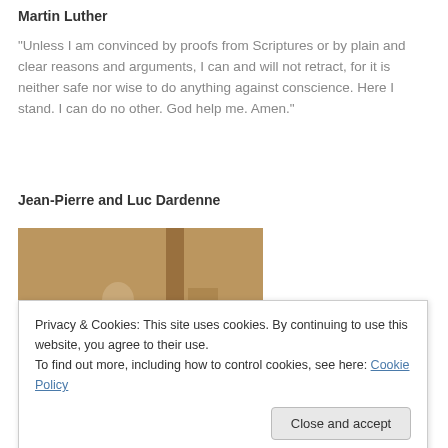Martin Luther
“Unless I am convinced by proofs from Scriptures or by plain and clear reasons and arguments, I can and will not retract, for it is neither safe nor wise to do anything against conscience. Here I stand. I can do no other. God help me. Amen.”
Jean-Pierre and Luc Dardenne
[Figure (photo): A person in a brown jacket viewed from behind, in a dimly lit indoor setting, warm sepia tones]
Privacy & Cookies: This site uses cookies. By continuing to use this website, you agree to their use.
To find out more, including how to control cookies, see here: Cookie Policy
[Figure (photo): Partial view of another photo at the bottom of the page, dark tones]